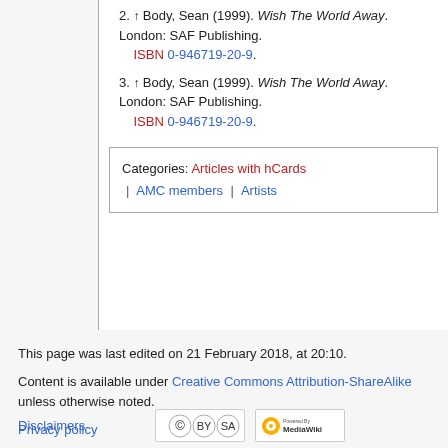2. ↑ Body, Sean (1999). Wish The World Away. London: SAF Publishing. ISBN 0-946719-20-9.
3. ↑ Body, Sean (1999). Wish The World Away. London: SAF Publishing. ISBN 0-946719-20-9.
Categories: Articles with hCards | AMC members | Artists
This page was last edited on 21 February 2018, at 20:10.
Content is available under Creative Commons Attribution-ShareAlike unless otherwise noted.
Privacy policy
About The Official Website for Mark Eitzel & American Music Club
Disclaimers
[Figure (logo): Creative Commons Attribution-ShareAlike badge]
[Figure (logo): Powered by MediaWiki badge]